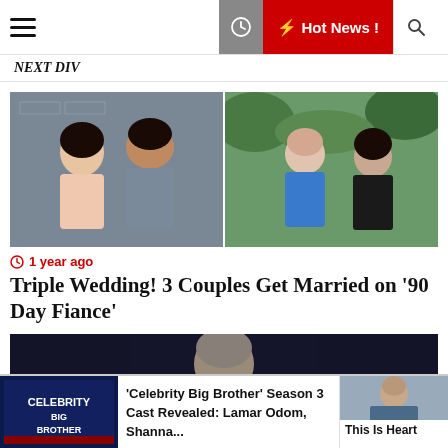Hot News !
Next Div
[Figure (photo): Two couples posed for photos: left couple is a woman in pink top and a man in grey shirt against a brick wall; right couple is a young man in blue polo and a woman in black dress against green foliage]
1 year ago
Triple Wedding! 3 Couples Get Married on '90 Day Fiance'
[Figure (photo): Dark background with a face/person partially visible, used as article thumbnail]
[Figure (photo): 'Celebrity Big Brother' logo thumbnail on dark blue background]
'Celebrity Big Brother' Season 3 Cast Revealed: Lamar Odom, Shanna...
[Figure (photo): Man in denim jacket thumbnail]
This Is Heart